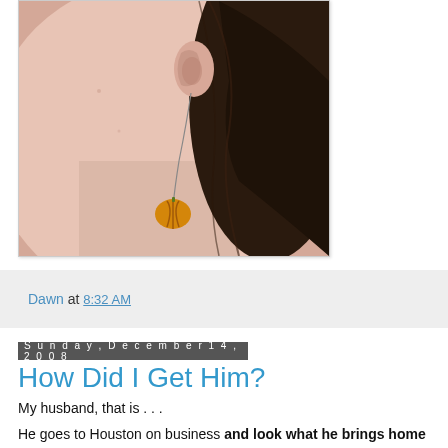[Figure (photo): Close-up side profile of a woman's ear and cheek, wearing a small orange pumpkin-shaped dangling earring on a thin wire hook. Dark hair visible at right.]
Dawn at 8:32 AM
Sunday, December 14, 2008
How Did I Get Him?
My husband, that is . . .
He goes to Houston on business and look what he brings home for me. He even kept with my purple colors scheme